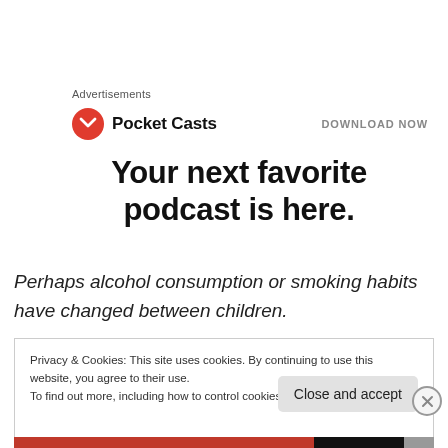Advertisements
[Figure (logo): Pocket Casts logo with red circular icon and brand name, with DOWNLOAD NOW call to action]
Your next favorite podcast is here.
Perhaps alcohol consumption or smoking habits have changed between children.
Privacy & Cookies: This site uses cookies. By continuing to use this website, you agree to their use.
To find out more, including how to control cookies, see here: Cookie Policy
Close and accept